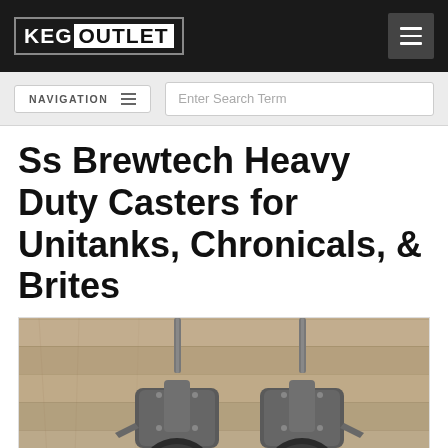KEG OUTLET
NAVIGATION | Enter Search Term
Ss Brewtech Heavy Duty Casters for Unitanks, Chronicals, & Brites
[Figure (photo): Two heavy duty casters/wheels with threaded stems and locking mechanisms, placed on a wooden surface background.]